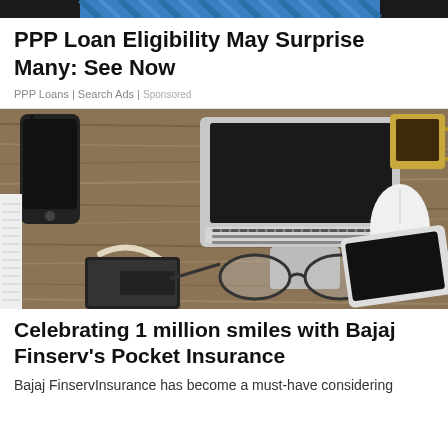[Figure (photo): Top cropped image showing blue/teal patterned fabric or card against dark background]
PPP Loan Eligibility May Surprise Many: See Now
PPP Loans | Search Ads | Sponsored
[Figure (photo): Overhead flat-lay photo of a wooden desk with a laptop, smartphone, tablet, glasses, wallet, cable, notepad, and a yellow coffee mug]
Celebrating 1 million smiles with Bajaj Finserv's Pocket Insurance
Bajaj FinservInsurance has become a must-have considering